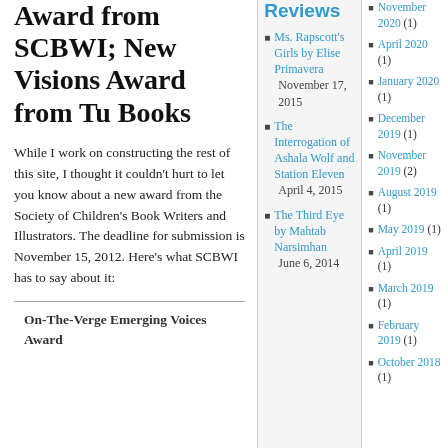Emerging Voice Award from SCBWI; New Visions Award from Tu Books
While I work on constructing the rest of this site, I thought it couldn't hurt to let you know about a new award from the Society of Children's Book Writers and Illustrators. The deadline for submission is November 15, 2012. Here's what SCBWI has to say about it:
On-The-Verge Emerging Voices Award
Reviews
Ms. Rapscott's Girls by Elise Primavera — November 17, 2015
The Interrogation of Ashala Wolf and Station Eleven — April 4, 2015
The Third Eye by Mahtab Narsimhan — June 6, 2014
November 2020 (1)
April 2020 (1)
January 2020 (1)
December 2019 (1)
November 2019 (2)
August 2019 (1)
May 2019 (1)
April 2019 (1)
March 2019 (1)
February 2019 (1)
October 2018 (1)